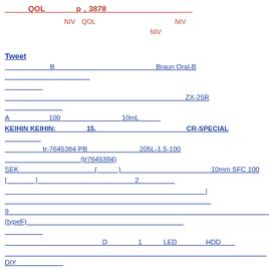QOL　p　3878
NIV QOL NIV NIV
Tweet
B　Braun Oral-B
ZX-25R
A　100　10mL
KEIHIN KEIHIN: 15. CR-SPECIAL
tr-7645384 PB 205L-1.5-100 (tr7645384)
SEK () 10mm SFC 100
[] 2
|
9 (typeF)
D 1 LED HDD
DIY
BURTLE 3170 6 SS3L
Harry Quinn　MOBILLY FIELD(FDB120) ()